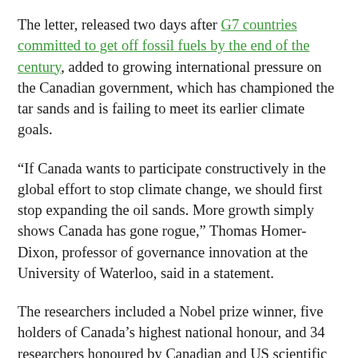The letter, released two days after G7 countries committed to get off fossil fuels by the end of the century, added to growing international pressure on the Canadian government, which has championed the tar sands and is failing to meet its earlier climate goals.
“If Canada wants to participate constructively in the global effort to stop climate change, we should first stop expanding the oil sands. More growth simply shows Canada has gone rogue,” Thomas Homer-Dixon, professor of governance innovation at the University of Waterloo, said in a statement.
The researchers included a Nobel prize winner, five holders of Canada’s highest national honour, and 34 researchers honoured by Canadian and US scientific societies.
The researchers said it was the first time that scientists had come out as professionals in opposition to the tar sands. The letter offered 10 reasons for the moratorium call, ranging from